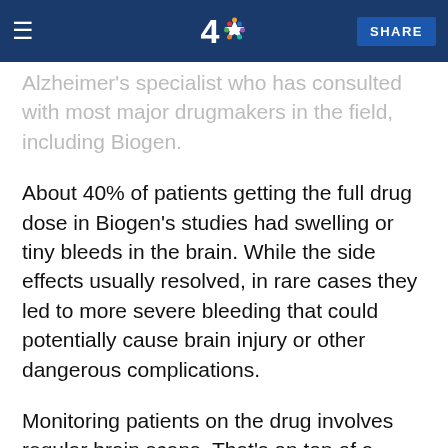NBC 4 — SHARE
Alzheimer's specialist who has consulted with most major drugmakers in the field, including Biogen.
About 40% of patients getting the full drug dose in Biogen's studies had swelling or tiny bleeds in the brain. While the side effects usually resolved, in rare cases they led to more severe bleeding that could potentially cause brain injury or other dangerous complications.
Monitoring patients on the drug involves regular brain scans. That's on top of a different type of scan to tell if patients have the brain plaque targeted by the drug. Running all those tests could easily approach $10,000 the first year, according to physicians.